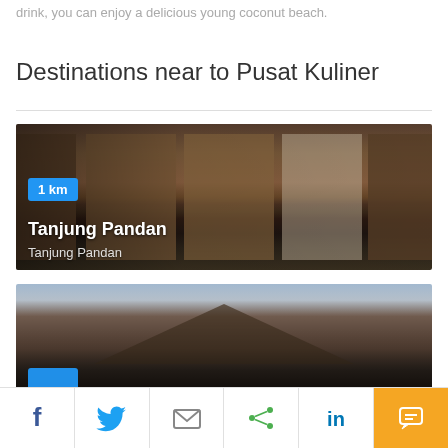drink, you can enjoy a delicious young coconut beach.
Destinations near to Pusat Kuliner
[Figure (photo): Indoor photo showing traditional Indonesian wooden furniture and two women in traditional dress playing percussion instruments, with a badge showing '1 km', title 'Tanjung Pandan' and subtitle 'Tanjung Pandan']
[Figure (photo): Outdoor photo showing a traditional thatched-roof building with trees in the background, partially cropped, with blue badge visible at bottom left]
Social share bar with Facebook, Twitter, Email, Share, LinkedIn, and Chat buttons